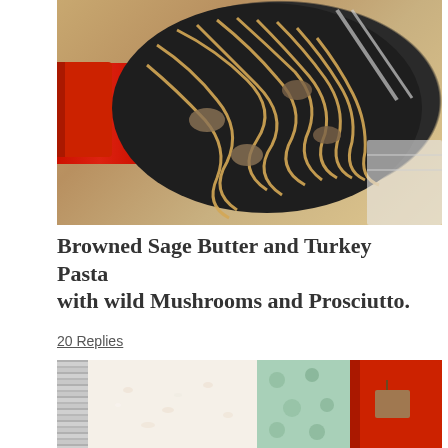[Figure (photo): Overhead view of pasta in a black cast iron skillet with a red handle, containing fettuccine noodles with mushrooms, on a wooden cutting board with a cloth napkin]
Browned Sage Butter and Turkey Pasta with wild Mushrooms and Prosciutto.
20 Replies
[Figure (photo): Close-up of a block of Parmesan cheese with a metal grater, a floral blue-green cloth, and a red pot in the background]